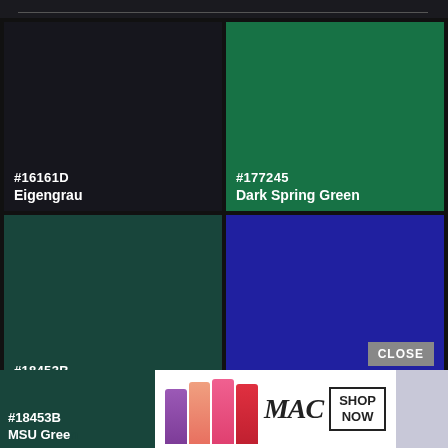[Figure (infographic): Color swatch grid showing four color tiles: #16161D Eigengrau (dark near-black), #177245 Dark Spring Green, #18453B MSU Green, and an unnamed dark blue (~#2020A0). Each tile shows the hex code and color name in white text at the bottom left.]
#16161D
Eigengrau
#177245
Dark Spring Green
#18453B
MSU Green
CLOSE
[Figure (advertisement): MAC cosmetics advertisement banner showing lipsticks in purple, peach, pink and red, MAC logo text, and a SHOP NOW box.]